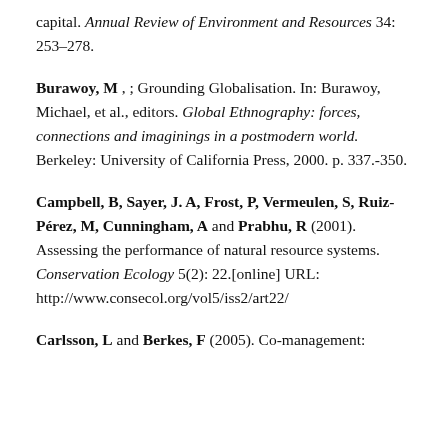capital. Annual Review of Environment and Resources 34: 253–278.
Burawoy, M , ; Grounding Globalisation. In: Burawoy, Michael, et al., editors. Global Ethnography: forces, connections and imaginings in a postmodern world. Berkeley: University of California Press, 2000. p. 337.-350.
Campbell, B, Sayer, J. A, Frost, P, Vermeulen, S, Ruiz-Pérez, M, Cunningham, A and Prabhu, R (2001). Assessing the performance of natural resource systems. Conservation Ecology 5(2): 22.[online] URL: http://www.consecol.org/vol5/iss2/art22/
Carlsson, L and Berkes, F (2005). Co-management: